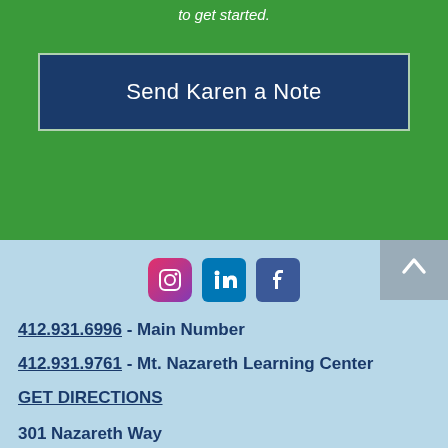to get started.
Send Karen a Note
[Figure (logo): Social media icons: Instagram, LinkedIn, Facebook]
412.931.6996 - Main Number
412.931.9761 - Mt. Nazareth Learning Center
GET DIRECTIONS
301 Nazareth Way Pittsburgh, PA 15229
EMPLOYMENT OPPORTUNITIES
CONTACT A DIRECTOR
BLOG